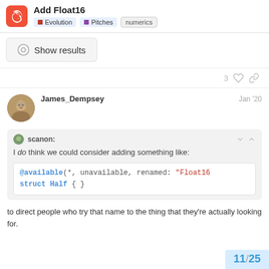Add Float16 — Evolution · Pitches · numerics
[Figure (screenshot): Show results button with eye icon in a gray rounded box]
3 (likes)
James_Dempsey — Jan '20
scanon: I do think we could consider adding something like:
to direct people who try that name to the thing they're actually looking for.
11 / 25